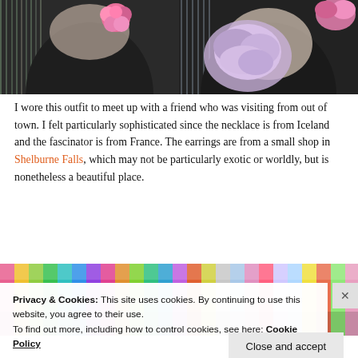[Figure (photo): Two-panel photo: left panel shows a woman in a black top with a pink floral necklace against a colorful ribbon backdrop; right panel shows a close-up of a woman wearing a lavender/pink ruffled floral necklace with a black top.]
I wore this outfit to meet up with a friend who was visiting from out of town. I felt particularly sophisticated since the necklace is from Iceland and the fascinator is from France. The earrings are from a small shop in Shelburne Falls, which may not be particularly exotic or worldly, but is nonetheless a beautiful place.
[Figure (photo): Bottom portion of a photo showing colorful metallic/foil ribbons or fabrics in a rainbow of colors displayed in a shop.]
Privacy & Cookies: This site uses cookies. By continuing to use this website, you agree to their use.
To find out more, including how to control cookies, see here: Cookie Policy